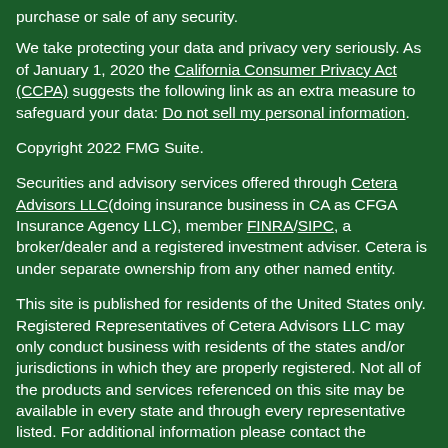purchase or sale of any security.
We take protecting your data and privacy very seriously. As of January 1, 2020 the California Consumer Privacy Act (CCPA) suggests the following link as an extra measure to safeguard your data: Do not sell my personal information.
Copyright 2022 FMG Suite.
Securities and advisory services offered through Cetera Advisors LLC(doing insurance business in CA as CFGA Insurance Agency LLC), member FINRA/SIPC, a broker/dealer and a registered investment adviser. Cetera is under separate ownership from any other named entity.
This site is published for residents of the United States only. Registered Representatives of Cetera Advisors LLC may only conduct business with residents of the states and/or jurisdictions in which they are properly registered. Not all of the products and services referenced on this site may be available in every state and through every representative listed. For additional information please contact the representative(s) listed on the site, visit the Cetera Advisors LLC site at www.ceteraadvisors.com